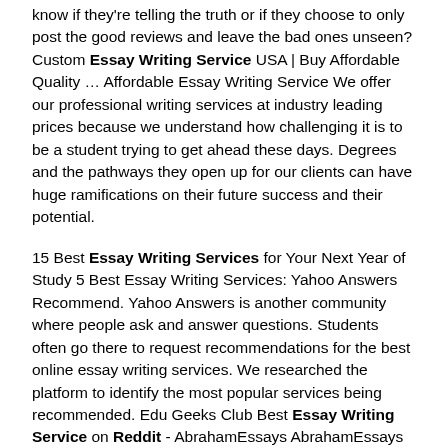know if they're telling the truth or if they choose to only post the good reviews and leave the bad ones unseen? Custom Essay Writing Service USA | Buy Affordable Quality … Affordable Essay Writing Service We offer our professional writing services at industry leading prices because we understand how challenging it is to be a student trying to get ahead these days. Degrees and the pathways they open up for our clients can have huge ramifications on their future success and their potential.
15 Best Essay Writing Services for Your Next Year of Study 5 Best Essay Writing Services: Yahoo Answers Recommend. Yahoo Answers is another community where people ask and answer questions. Students often go there to request recommendations for the best online essay writing services. We researched the platform to identify the most popular services being recommended. Edu Geeks Club Best Essay Writing Service on Reddit - AbrahamEssays AbrahamEssays is one of the best Essay Writing Services on Reddit. Here, the prices are very low, the design is welcoming, the support team is responsive